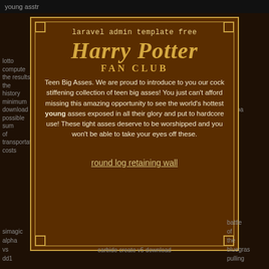young asstr
lotto compute the results the history minimum download possible sum of transportation costs
jan e isho novel pdf and downloa paste prepp robl bios copy
laravel admin template free
[Figure (illustration): Harry Potter Fan Club logo with stylized gold text on brown background]
Teen Big Asses. We are proud to introduce to you our cock stiffening collection of teen big asses! You just can't afford missing this amazing opportunity to see the world's hottest young asses exposed in all their glory and put to hardcore use! These tight asses deserve to be worshipped and you won't be able to take your eyes off these.
round log retaining wall
simagic alpha vs dd1
carbide create v5 download
battle of the bluegrass pulling